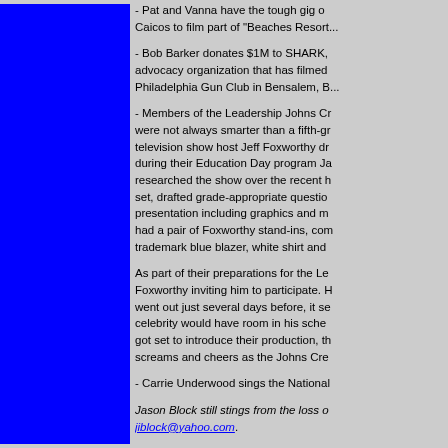[Figure (other): Solid blue rectangle filling the left column of the page]
- Pat and Vanna have the tough gig of going to Turks and Caicos to film part of "Beaches Resorts"...
- Bob Barker donates $1M to SHARK, an animal advocacy organization that has filmed activities at the Philadelphia Gun Club in Bensalem, B...
- Members of the Leadership Johns Cr... were not always smarter than a fifth-gr... television show host Jeff Foxworthy dr... during their Education Day program Ja... researched the show over the recent h... set, drafted grade-appropriate questio... presentation including graphics and m... had a pair of Foxworthy stand-ins, com... trademark blue blazer, white shirt and ...
As part of their preparations for the Le... Foxworthy inviting him to participate. H... went out just several days before, it se... celebrity would have room in his sched... got set to introduce their production, th... screams and cheers as the Johns Cre...
- Carrie Underwood sings the National...
Jason Block still stings from the loss o... jiblock@yahoo.com.